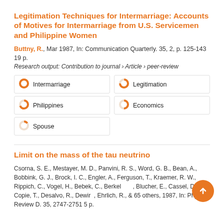Legitimation Techniques for Intermarriage: Accounts of Motives for Intermarriage from U.S. Servicemen and Philippine Women
Buttny, R., Mar 1987, In: Communication Quarterly. 35, 2, p. 125-143 19 p.
Research output: Contribution to journal › Article › peer-review
[Figure (infographic): Keyword badges with donut/pie fill indicators: Intermarriage (100%), Legitimation (~75%), Philippines (~75%), Economics (~50%), Spouse (~15%)]
Limit on the mass of the tau neutrino
Csorna, S. E., Mestayer, M. D., Panvini, R. S., Word, G. B., Bean, A., Bobbink, G. J., Brock, I. C., Engler, A., Ferguson, T., Kraemer, R. W., Rippich, C., Vogel, H., Bebek, C., Berkelman, Blucher, E., Cassel, D. G., Copie, T., Desalvo, R., Dewire, Ehrlich, R., & 65 others, 1987, In: Physical Review D. 35, 2747-2751 5 p.